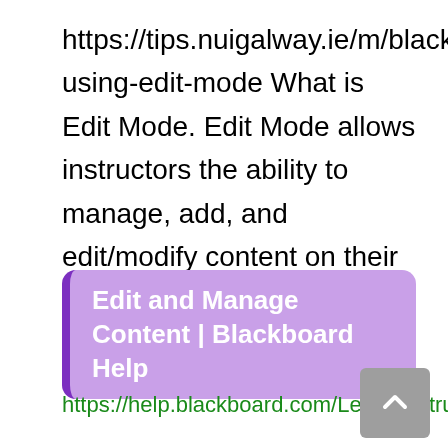https://tips.nuigalway.ie/m/blackboard/l/1389594-using-edit-mode What is Edit Mode. Edit Mode allows instructors the ability to manage, add, and edit/modify content on their Blackboard courses.
[Figure (other): Purple rounded rectangle link card with left border accent, containing bold white text: 'Edit and Manage Content | Blackboard Help']
https://help.blackboard.com/Learn/Instructor/Original/Course_Content/Create_Content/Edit_and_Manage_Content